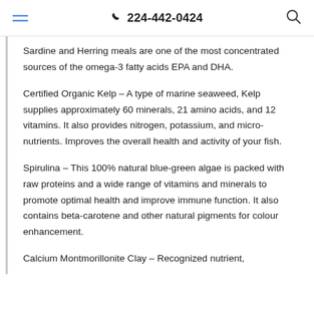224-442-0424
Sardine and Herring meals are one of the most concentrated sources of the omega-3 fatty acids EPA and DHA.
Certified Organic Kelp – A type of marine seaweed, Kelp supplies approximately 60 minerals, 21 amino acids, and 12 vitamins. It also provides nitrogen, potassium, and micro-nutrients. Improves the overall health and activity of your fish.
Spirulina – This 100% natural blue-green algae is packed with raw proteins and a wide range of vitamins and minerals to promote optimal health and improve immune function. It also contains beta-carotene and other natural pigments for colour enhancement.
Calcium Montmorillonite Clay – Recognized nutrient,